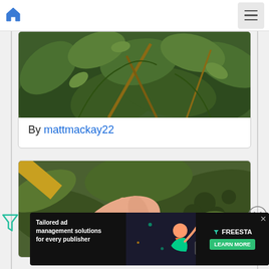Navigation bar with home icon and menu icon
[Figure (photo): Top portion of a plant card showing green tropical leaves with brown branches]
By mattmackay22
[Figure (photo): Second card showing a hand wiping or touching a plant leaf with tropical foliage in background]
[Figure (other): Advertisement banner: Tailored ad management solutions for every publisher - Freestar Learn More button]